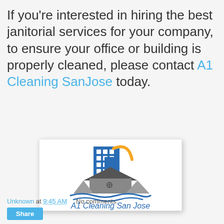If you're interested in hiring the best janitorial services for your company, to ensure your office or building is properly cleaned, please contact A1 Cleaning SanJose today.
[Figure (logo): A1 Cleaning San Jose logo with blue building, house silhouette, mountains, wave, and orange arc]
Unknown at 9:45 AM    No comments: